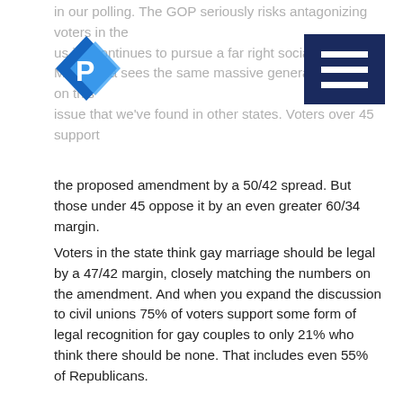[Figure (logo): Public Policy Polling logo — blue diamond shape with P letter]
[Figure (other): Dark navy hamburger menu button with three white horizontal lines]
in our polling. The GOP seriously risks antagonizing voters in the us if it continues to pursue a far right social agenda. Minnesota sees the same massive generational gap on this issue that we've found in other states. Voters over 45 support the proposed amendment by a 50/42 spread. But those under 45 oppose it by an even greater 60/34 margin.
Voters in the state think gay marriage should be legal by a 47/42 margin, closely matching the numbers on the amendment. And when you expand the discussion to civil unions 75% of voters support some form of legal recognition for gay couples to only 21% who think there should be none. That includes even 55% of Republicans.
Republicans are headed for better news with their proposed amendment to require voters to show a photo identification when they go to cast their ballots. 58% of voters support that with 34% opposed. Republicans (84/10) are almost unanimously supportive of it.
“The pro-equality side is now winning on gay marriage ballot initiatives in Maryland, Maine, Minnesota, and Washington,” said Dean Debnam, President of Public Policy Polling. “The landscape